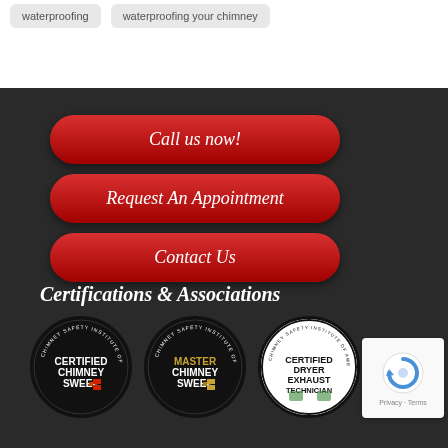waterproofing
waterproofing your chimney
Call us now!
Request An Appointment
Contact Us
Certifications & Associations
[Figure (logo): Certified Chimney Sweep - Chimney Safety Institute of America badge]
[Figure (logo): Master Chimney Sweep - Chimney Safety Institute of America badge]
[Figure (logo): Certified Dryer Exhaust Technician - Chimney Safety Institute of America badge]
[Figure (other): reCAPTCHA privacy widget with Privacy and Terms links]